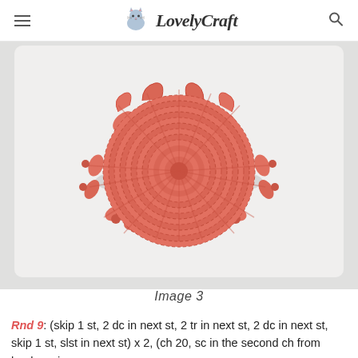LovelyCraft
[Figure (photo): Top-down view of a crocheted coral/salmon-colored circular piece with decorative ruffled edges and bobble details, resembling a sun or flower shape, photographed on a light background.]
Image 3
Rnd 9: (skip 1 st, 2 dc in next st, 2 tr in next st, 2 dc in next st, skip 1 st, slst in next st) x 2, (ch 20, sc in the second ch from hook, sc in